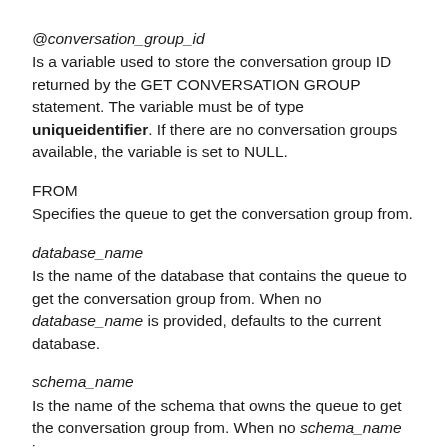@conversation_group_id
Is a variable used to store the conversation group ID returned by the GET CONVERSATION GROUP statement. The variable must be of type uniqueidentifier. If there are no conversation groups available, the variable is set to NULL.
FROM
Specifies the queue to get the conversation group from.
database_name
Is the name of the database that contains the queue to get the conversation group from. When no database_name is provided, defaults to the current database.
schema_name
Is the name of the schema that owns the queue to get the conversation group from. When no schema_name is